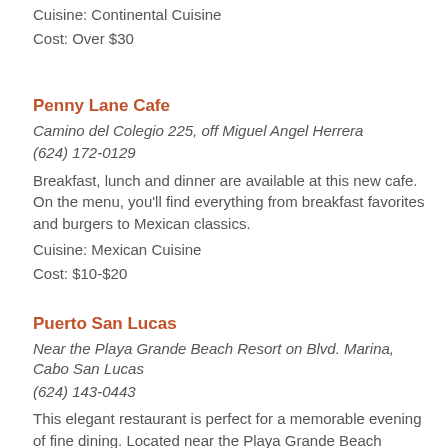Cuisine: Continental Cuisine
Cost: Over $30
Penny Lane Cafe
Camino del Colegio 225, off Miguel Angel Herrera
(624) 172-0129
Breakfast, lunch and dinner are available at this new cafe. On the menu, you'll find everything from breakfast favorites and burgers to Mexican classics.
Cuisine: Mexican Cuisine
Cost: $10-$20
Puerto San Lucas
Near the Playa Grande Beach Resort on Blvd. Marina, Cabo San Lucas
(624) 143-0443
This elegant restaurant is perfect for a memorable evening of fine dining. Located near the Playa Grande Beach Resort,